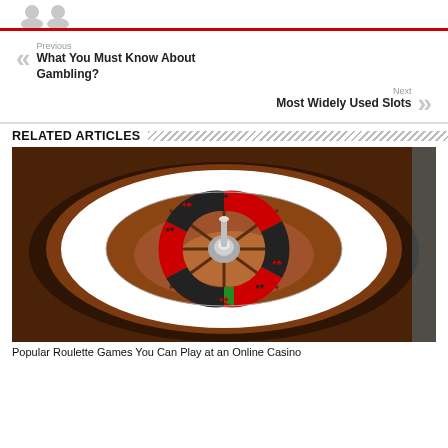[Figure (illustration): Two gray avatar/person icons at top of page]
Previous
What You Must Know About Gambling?
Next
Most Widely Used Slots
RELATED ARTICLES
[Figure (photo): A roulette wheel photographed from above, showing red, black, and green numbered slots with playing card suit symbols. A chrome center spindle is visible.]
Popular Roulette Games You Can Play at an Online Casino